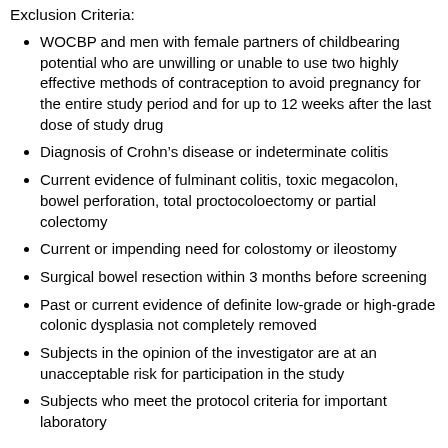Exclusion Criteria:
WOCBP and men with female partners of childbearing potential who are unwilling or unable to use two highly effective methods of contraception to avoid pregnancy for the entire study period and for up to 12 weeks after the last dose of study drug
Diagnosis of Crohn’s disease or indeterminate colitis
Current evidence of fulminant colitis, toxic megacolon, bowel perforation, total proctocoloectomy or partial colectomy
Current or impending need for colostomy or ileostomy
Surgical bowel resection within 3 months before screening
Past or current evidence of definite low-grade or high-grade colonic dysplasia not completely removed
Subjects in the opinion of the investigator are at an unacceptable risk for participation in the study
Subjects who meet the protocol criteria for important laboratory